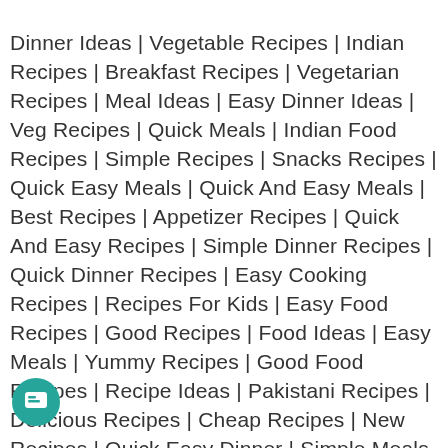Dinner Ideas | Vegetable Recipes | Indian Recipes | Breakfast Recipes | Vegetarian Recipes | Meal Ideas | Easy Dinner Ideas | Veg Recipes | Quick Meals | Indian Food Recipes | Simple Recipes | Snacks Recipes | Quick Easy Meals | Quick And Easy Meals | Best Recipes | Appetizer Recipes | Quick And Easy Recipes | Simple Dinner Recipes | Quick Dinner Recipes | Easy Cooking Recipes | Recipes For Kids | Easy Food Recipes | Good Recipes | Food Ideas | Easy Meals | Yummy Recipes | Good Food Recipes | Recipe Ideas | Pakistani Recipes | Delicious Recipes | Cheap Recipes | New Recipes | Quick Easy Dinner | Simple Meals | Quick Easy Recipes | Cooking Tips | Finger Food Recipes | Cooking Ideas | Indian Cooking Recipes | Recipes By Ingredients | Super Recipes | Cooking Food | Simple Food Recipes | Great Recipes | Online Recipes | Fast Recipe| Easy Super Recipes | Recipe For | Recipe | White | Vegetarian Food
[Figure (other): Green circular chat button icon in bottom-left corner]